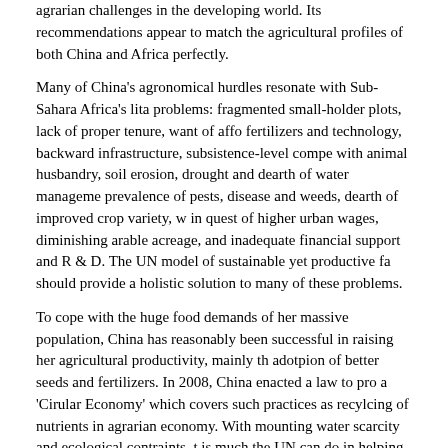agrarian challenges in the developing world. Its recommendations appear to match the agricultural profiles of both China and Africa perfectly.
Many of China's agronomical hurdles resonate with Sub-Sahara Africa's lita problems: fragmented small-holder plots, lack of proper tenure, want of affo fertilizers and technology, backward infrastructure, subsistence-level compe with animal husbandry, soil erosion, drought and dearth of water manageme prevalence of pests, disease and weeds, dearth of improved crop variety, w in quest of higher urban wages, diminishing arable acreage, and inadequate financial support and R & D. The UN model of sustainable yet productive fa should provide a holistic solution to many of these problems.
To cope with the huge food demands of her massive population, China has reasonably been successful in raising her agricultural productivity, mainly th adotpion of better seeds and fertilizers. In 2008, China enacted a law to pro a 'Cirular Economy' which covers such practices as recylcing of nutrients in agrarian economy. With mounting water scarcity and ecological contraints, t is much the UN can do in helping China and Africa to overcome their agricu challenges.
China has been very active in agricultural aid in Africa. China has also activ participated in the United Nations Food and Agriculture Organization (FAO) Special Program on Food Security in a number of